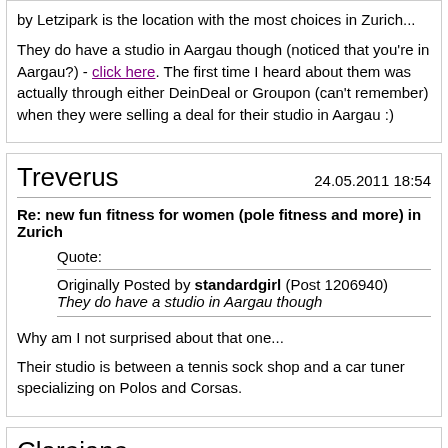by Letzipark is the location with the most choices in Zurich...
They do have a studio in Aargau though (noticed that you're in Aargau?) - click here. The first time I heard about them was actually through either DeinDeal or Groupon (can't remember) when they were selling a deal for their studio in Aargau :)
Treverus
24.05.2011 18:54
Re: new fun fitness for women (pole fitness and more) in Zurich
Quote:
Originally Posted by standardgirl (Post 1206940)
They do have a studio in Aargau though
Why am I not surprised about that one...
Their studio is between a tennis sock shop and a car tuner specializing on Polos and Corsas.
Clarejane
24.05.2011 19:45
Re: new fun fitness for women (pole fitness and more) in Zurich